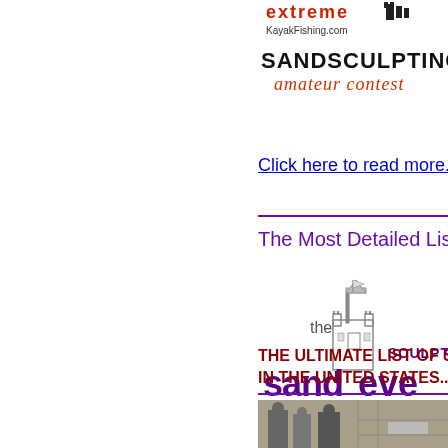[Figure (logo): Extreme Kayak Fishing.com Sandsculpting Amateur Contest logo with castle graphic]
Click here to read more......
The Most Detailed List of S...
[Figure (logo): The Sand Sculpting Events logo with castle illustration — 'the sandevents covers sculpting' text]
THE ULTIMATE LIST OF SAND SCULPTING IN THE UNITED STATES.....(C...
[Figure (photo): Bottom photo — people at sand sculpting event]